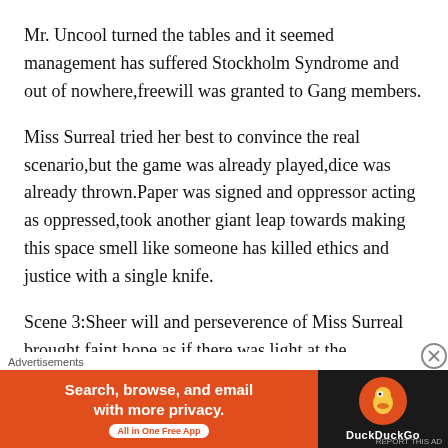Mr. Uncool turned the tables and it seemed management has suffered Stockholm Syndrome and out of nowhere,freewill was granted to Gang members.
Miss Surreal tried her best to convince the real scenario,but the game was already played,dice was already thrown.Paper was signed and oppressor acting as oppressed,took another giant leap towards making this space smell like someone has killed ethics and justice with a single knife.
Scene 3:Sheer will and perseverence of Miss Surreal brought faint hope as if there was light at the
[Figure (other): DuckDuckGo advertisement banner: 'Search, browse, and email with more privacy. All in One Free App' with DuckDuckGo duck logo on dark background, preceded by 'Advertisements' label and a close/report button.]